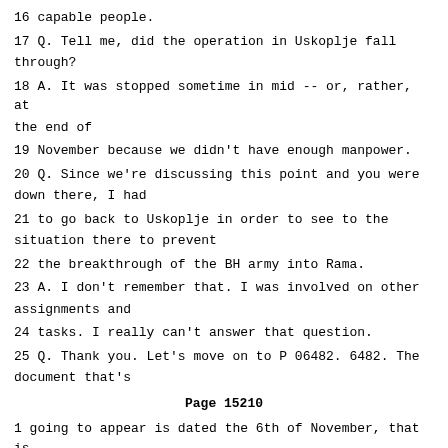16 capable people.
17 Q. Tell me, did the operation in Uskoplje fall through?
18 A. It was stopped sometime in mid -- or, rather, at the end of
19 November because we didn't have enough manpower.
20 Q. Since we're discussing this point and you were down there, I had
21 to go back to Uskoplje in order to see to the situation there to prevent
22 the breakthrough of the BH army into Rama.
23 A. I don't remember that. I was involved on other assignments and
24 tasks. I really can't answer that question.
25 Q. Thank you. Let's move on to P 06482. 6482. The document that's
Page 15210
1 going to appear is dated the 6th of November, that is to say two days